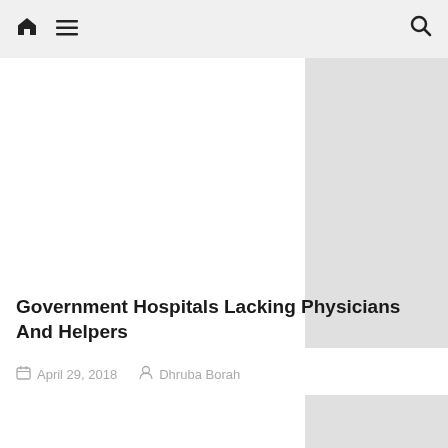Home | Menu | Search
[Figure (other): Gray placeholder rectangle in top-right sidebar area]
Government Hospitals Lacking Physicians And Helpers
April 29, 2018   Dhruba Borah
[Figure (other): Gray placeholder rectangle in bottom-right sidebar area]